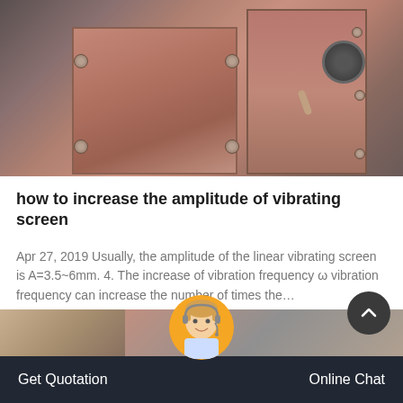[Figure (photo): Industrial machinery photo showing rusty metal panels and equipment leaning against a concrete wall]
how to increase the amplitude of vibrating screen
Apr 27, 2019 Usually, the amplitude of the linear vibrating screen is A=3.5~6mm. 4. The increase of vibration frequency ω vibration frequency can increase the number of times the…
GET PRICE
[Figure (photo): Partial view of industrial site photos at bottom of page]
Get Quotation   Online Chat